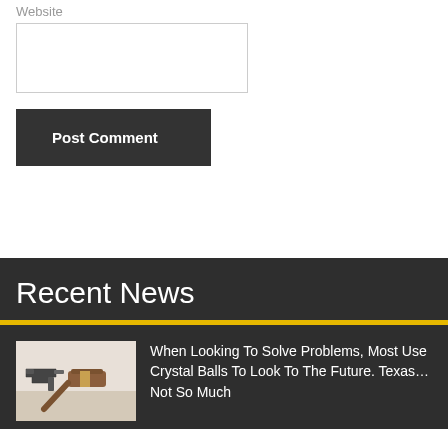Website
[Figure (screenshot): Empty website text input field with border]
Post Comment
Recent News
[Figure (photo): A gavel and handgun on a white surface, representing legal/gun-related news]
When Looking To Solve Problems, Most Use Crystal Balls To Look To The Future. Texas… Not So Much